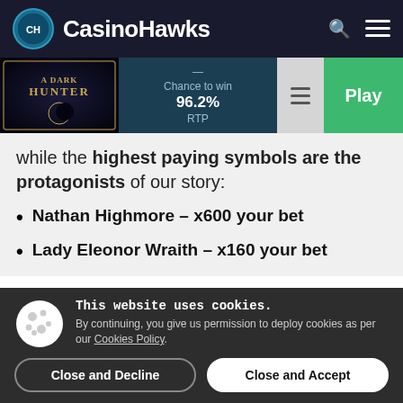CasinoHawks
[Figure (screenshot): Game card for A Dark Hunter showing 96.2% RTP, Chance to win label, and a Play button]
while the highest paying symbols are the protagonists of our story:
Nathan Highmore – x600 your bet
Lady Eleonor Wraith – x160 your bet
This website uses cookies. By continuing, you give us permission to deploy cookies as per our Cookies Policy.
Close and Decline
Close and Accept